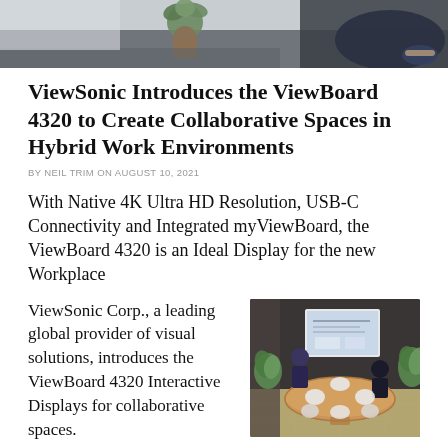[Figure (photo): Top portion of a photo showing a person at a desk with a small plant, partial crop]
ViewSonic Introduces the ViewBoard 4320 to Create Collaborative Spaces in Hybrid Work Environments
BY NEIL TRIM ON AUGUST 10, 2021
With Native 4K Ultra HD Resolution, USB-C Connectivity and Integrated myViewBoard, the ViewBoard 4320 is an Ideal Display for the new Workplace
ViewSonic Corp., a leading global provider of visual solutions, introduces the ViewBoard 4320 Interactive Displays for collaborative spaces.
[Figure (photo): Photo of a modern conference room with people around a round wooden table, a large display on the wall showing a presentation, surrounded by plants]